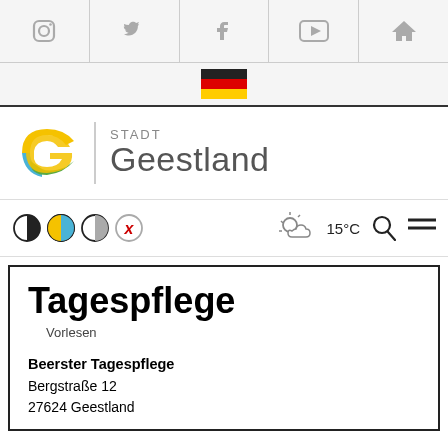[Figure (screenshot): Social media icons bar: Instagram, Twitter, Facebook, YouTube, Home icons in a row]
[Figure (illustration): German flag (black, red, gold) centered in a light bar]
[Figure (logo): Stadt Geestland logo: colorful G-shaped icon with yellow, blue and green, followed by text STADT Geestland]
[Figure (screenshot): Toolbar with accessibility/contrast icons, weather icon (sun/cloud), 15°C temperature, search icon, and hamburger menu]
Tagespflege
Vorlesen
Beerster Tagespflege
Bergstraße 12
27624 Geestland